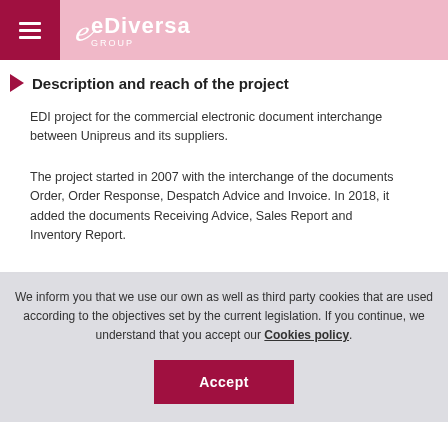eDiversa Group
Description and reach of the project
EDI project for the commercial electronic document interchange between Unipreus and its suppliers.
The project started in 2007 with the interchange of the documents Order, Order Response, Despatch Advice and Invoice. In 2018, it added the documents Receiving Advice, Sales Report and Inventory Report.
We inform you that we use our own as well as third party cookies that are used according to the objectives set by the current legislation. If you continue, we understand that you accept our Cookies policy.
Accept